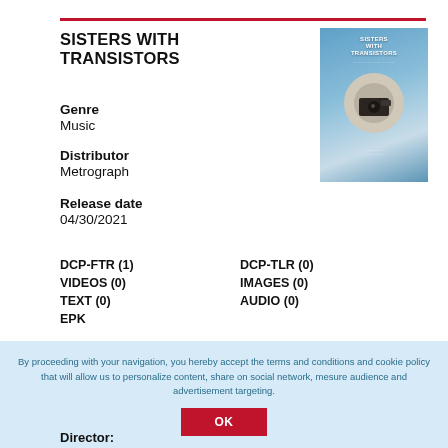SISTERS WITH TRANSISTORS
Genre
Music
Distributor
Metrograph
Release date
04/30/2021
[Figure (photo): Movie poster for Sisters with Transistors showing blue tones with title text and circular imagery]
DCP-FTR (1)
VIDEOS (0)
TEXT (0)
EPK
DCP-TLR (0)
IMAGES (0)
AUDIO (0)
By proceeding with your navigation, you hereby accept the terms and conditions and cookie policy that will allow us to personalize content, share on social network, mesure audience and advertisement targeting.
OK
Director: